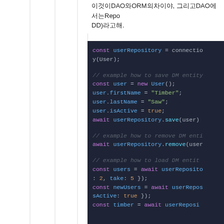이것이 DAO와 ORM의 차이야. 그리고 DAO에서는 Repository (DD)라고 해.
[Figure (screenshot): Dark-themed code editor showing TypeScript/JavaScript code using TypeORM userRepository methods: save, remove, and find with skip/take pagination parameters.]